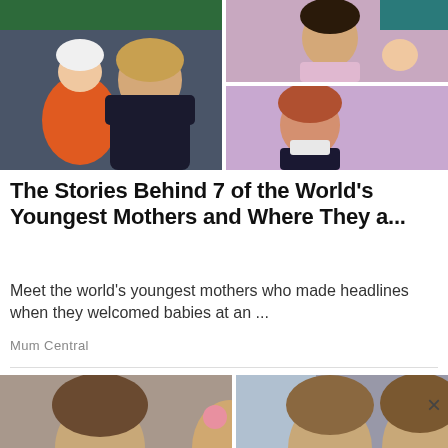[Figure (photo): Collage of three photos: left photo shows a teenage girl in a dark sweatshirt holding a baby in an orange outfit and white hat; top right shows a young woman in a pink top holding a newborn; bottom right shows a young woman with reddish hair in a dark jacket in a purple-walled room.]
The Stories Behind 7 of the World's Youngest Mothers and Where They a...
Meet the world's youngest mothers who made headlines when they welcomed babies at an ...
Mum Central
[Figure (photo): Partial photo collage showing faces of young people, partially cropped at bottom of page, with a close (×) button overlay on the right side.]